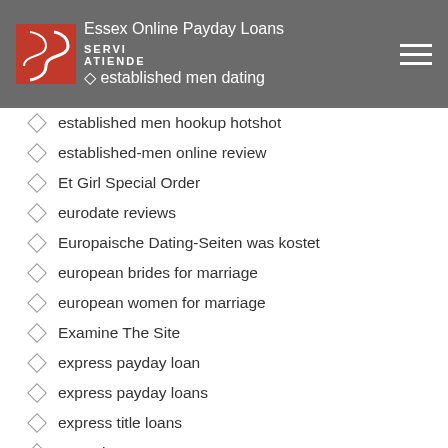Essex Online Payday Loans / established men dating
established men hookup hotshot
established-men online review
Et Girl Special Order
eurodate reviews
Europaische Dating-Seiten was kostet
european brides for marriage
european women for marriage
Examine The Site
express payday loan
express payday loans
express title loans
Extentions
f dating app
f dating log in
f dating mobile
f dating...